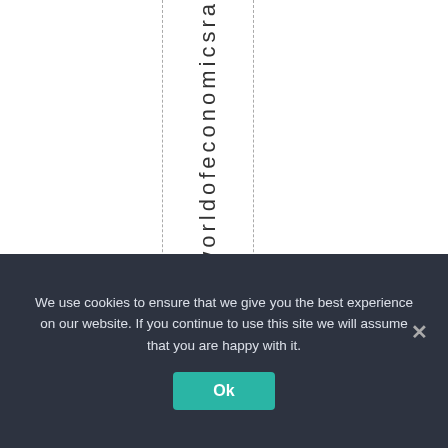[Figure (other): White area with two vertical dashed lines framing vertically written text reading 'worldofeconomicsra' rotated 90 degrees]
We use cookies to ensure that we give you the best experience on our website. If you continue to use this site we will assume that you are happy with it.
Ok